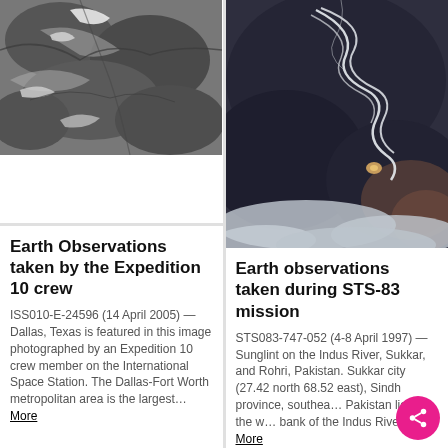[Figure (photo): Satellite/aerial photograph of Dallas-Fort Worth area, grayscale rocky/urban terrain view from ISS]
Earth Observations taken by the Expedition 10 crew
ISS010-E-24596 (14 April 2005) — Dallas, Texas is featured in this image photographed by an Expedition 10 crew member on the International Space Station. The Dallas-Fort Worth metropolitan area is the largest... More
[Figure (photo): Aerial/satellite photograph of Sunglint on the Indus River, Sukkar and Rohri, Pakistan, showing winding river patterns and clouds, color image from STS-83 mission]
Earth observations taken during STS-83 mission
STS083-747-052 (4-8 April 1997) — Sunglint on the Indus River, Sukkar, and Rohri, Pakistan. Sukkar city (27.42 north 68.52 east), Sindh province, southe... Pakistan lies on the w... bank of the Indus Rive... More